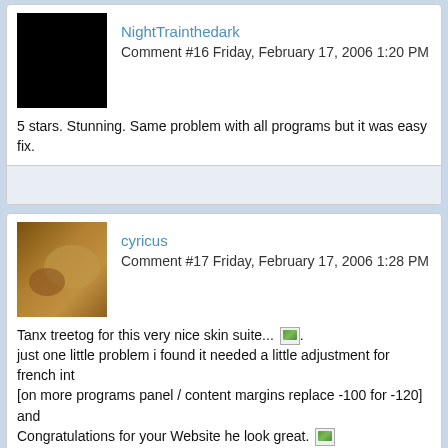NightTrainthedark
Comment #16 Friday, February 17, 2006 1:20 PM
5 stars. Stunning. Same problem with all programs but it was easy fix.
cyricus
Comment #17 Friday, February 17, 2006 1:28 PM
Tanx treetog for this very nice skin suite...
just one little problem i found it needed a little adjustment for french int
[on more programs panel / content margins replace -100 for -120] and
Congratulations for your Website he look great.
Aleatoric
Comment #18 Friday, February 17, 2006 1:29 PM
Awesome! Definitely a work of art. The details are perfect.